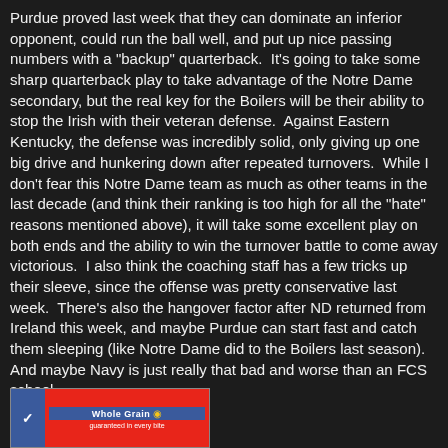Purdue proved last week that they can dominate an inferior opponent, could run the ball well, and put up nice passing numbers with a "backup" quarterback.  It's going to take some sharp quarterback play to take advantage of the Notre Dame secondary, but the real key for the Boilers will be their ability to stop the Irish with their veteran defense.  Against Eastern Kentucky, the defense was incredibly solid, only giving up one big drive and hunkering down after repeated turnovers.  While I don't fear this Notre Dame team as much as other teams in the last decade (and think their ranking is too high for all the "hate" reasons mentioned above), it will take some excellent play on both ends and the ability to win the turnover battle to come away victorious.  I also think the coaching staff has a few tricks up their sleeve, since the offense was pretty conservative last week.  There's also the hangover factor after ND returned from Ireland this week, and maybe Purdue can start fast and catch them sleeping (like Notre Dame did to the Boilers last season). And maybe Navy is just really that bad and worse than an FCS school.
[Figure (other): Advertisement banner for a Whole Grain product with blue and red branding, showing a checkmark logo on blue background and 'Whole Grain' text on red background]